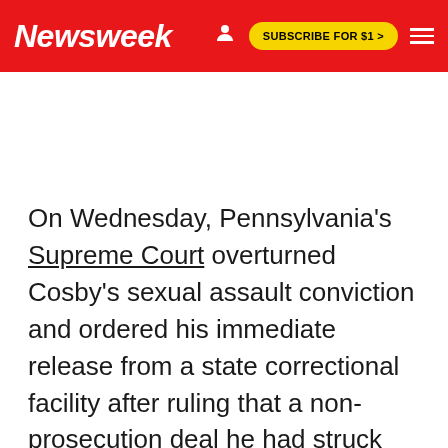Newsweek | SUBSCRIBE FOR $1 >
On Wednesday, Pennsylvania's Supreme Court overturned Cosby's sexual assault conviction and ordered his immediate release from a state correctional facility after ruling that a non-prosecution deal he had struck with Castor should have shielded him from the charges.